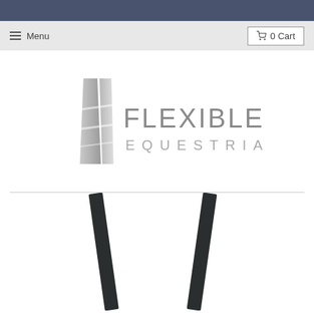☰ Menu  |  0 Cart
[Figure (logo): Flexible Fit Equestrian logo — a stylized silver/grey boot spur or wing shape on the left, with 'FLEXIBLE FIT' in large grey letters and 'EQUESTRIAN' in smaller spaced grey letters below on the right]
[Figure (photo): Bottom portion of a product photo showing two dark/black diagonal poles or legs against a white background, cropped at the bottom of the page]